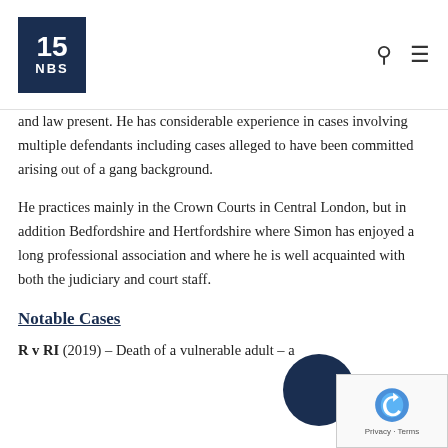15 NBS
and law present. He has considerable experience in cases involving multiple defendants including cases alleged to have been committed arising out of a gang background.
He practices mainly in the Crown Courts in Central London, but in addition Bedfordshire and Hertfordshire where Simon has enjoyed a long professional association and where he is well acquainted with both the judiciary and court staff.
Notable Cases
R v RI (2019) – Death of a vulnerable adult – a